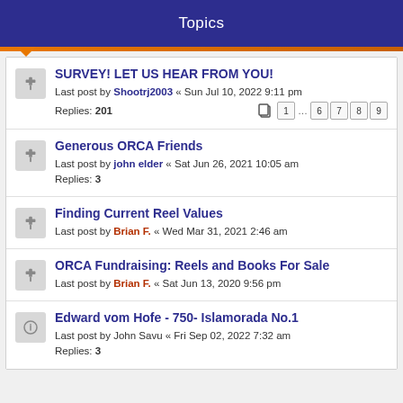Topics
SURVEY! LET US HEAR FROM YOU! — Last post by Shootrj2003 « Sun Jul 10, 2022 9:11 pm — Replies: 201
Generous ORCA Friends — Last post by john elder « Sat Jun 26, 2021 10:05 am — Replies: 3
Finding Current Reel Values — Last post by Brian F. « Wed Mar 31, 2021 2:46 am
ORCA Fundraising: Reels and Books For Sale — Last post by Brian F. « Sat Jun 13, 2020 9:56 pm
Edward vom Hofe - 750- Islamorada No.1 — Last post by John Savu « Fri Sep 02, 2022 7:32 am — Replies: 3